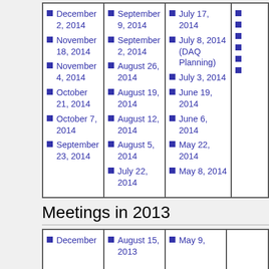| December 2, 2014
November 18, 2014
November 4, 2014
October 21, 2014
October 7, 2014
September 23, 2014 | September 9, 2014
September 2, 2014
August 26, 2014
August 19, 2014
August 12, 2014
August 5, 2014
July 22, 2014 | July 17, 2014
July 8, 2014 (DAQ Planning)
July 3, 2014
June 19, 2014
June 6, 2014
May 22, 2014
May 8, 2014 | (partial) |
Meetings in 2013
| December | August 15, 2013 | May 9, | (partial) |